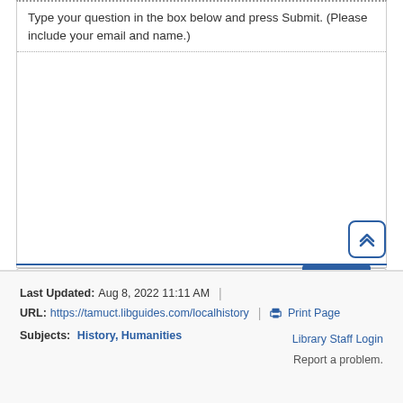Type your question in the box below and press Submit. (Please include your email and name.)
[Figure (screenshot): Empty white text input area for typing a question]
[Figure (screenshot): Scroll-to-top button with double chevron up arrow icon, blue border, white background, rounded corners]
[Figure (screenshot): Text input field with placeholder text 'Type your message here...' and resize handle]
[Figure (screenshot): Submit button, dark blue background, white text]
Last Updated: Aug 8, 2022 11:11 AM | URL: https://tamuct.libguides.com/localhistory | Print Page | Library Staff Login | Report a problem. | Subjects: History, Humanities